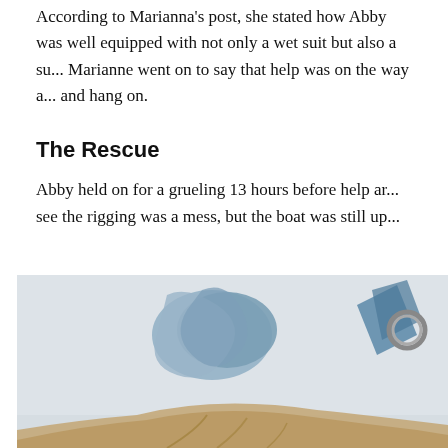According to Marianna's post, she stated how Abby was well equipped with not only a wet suit but also a su... Marianne went on to say that help was on the way a... and hang on.
The Rescue
Abby held on for a grueling 13 hours before help ar... see the rigging was a mess, but the boat was still up...
[Figure (photo): Photo showing boat rigging and a person with long hair. Blue cloth tied around rigging, carabiner visible on right side, white hull in background.]